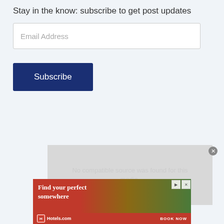Stay in the know: subscribe to get post updates
Email Address
Subscribe
[Figure (screenshot): Video player showing 'No compatible source was found for this media.' error message on grey background with close button]
[Figure (screenshot): Hotels.com advertisement banner showing 'Find your perfect somewhere' with beach vacation imagery and 'BOOK NOW' call to action]